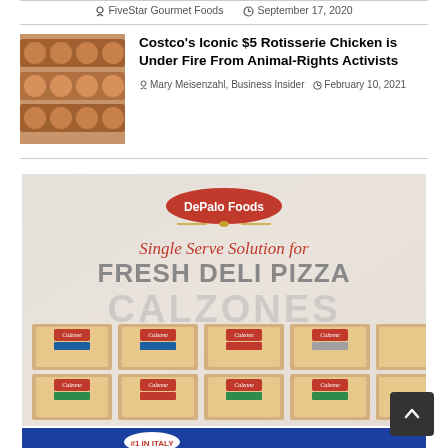FiveStar Gourmet Foods   September 17, 2020
[Figure (photo): Thumbnail photo of Costco rotisserie chickens on a rack]
Costco's Iconic $5 Rotisserie Chicken is Under Fire From Animal-Rights Activists
Mary Meisenzahl, Business Insider   February 10, 2021
[Figure (advertisement): DePalo Foods advertisement for Single Serve Solution for Fresh Deli Pizza - Calzones, showing multiple packaged calzone products]
[Figure (advertisement): Blue advertisement banner partially visible at bottom of page]